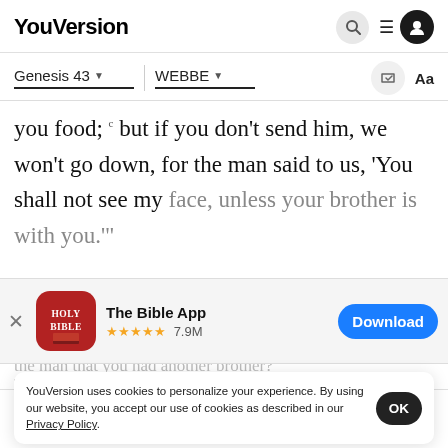YouVersion
Genesis 43   WEBBE
you food; but if you don't send him, we won't go down, for the man said to us, 'You shall not see my face, unless your brother is with you.'"
[Figure (screenshot): The Bible App download banner with icon, 5-star rating 7.9M, and Download button]
the man that you had another brother?
7 Th... ourselves...
YouVersion uses cookies to personalize your experience. By using our website, you accept our use of cookies as described in our Privacy Policy.
Home   Bible   Plans   Videos